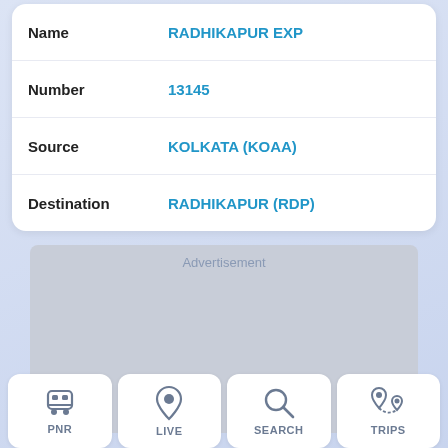|  |  |
| --- | --- |
| Name | RADHIKAPUR EXP |
| Number | 13145 |
| Source | KOLKATA (KOAA) |
| Destination | RADHIKAPUR (RDP) |
[Figure (other): Advertisement placeholder block]
[Figure (infographic): Bottom navigation bar with four icons: PNR (train icon), LIVE (location pin icon), SEARCH (magnifying glass icon), TRIPS (navigation/route icon)]